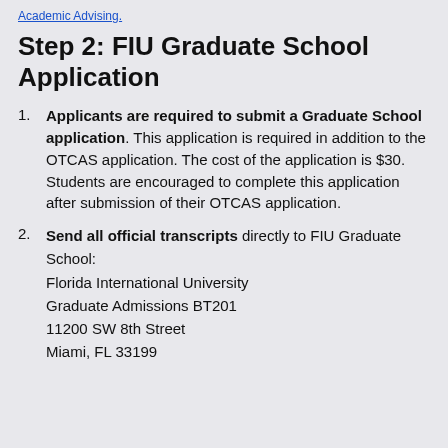Academic Advising.
Step 2: FIU Graduate School Application
Applicants are required to submit a Graduate School application. This application is required in addition to the OTCAS application. The cost of the application is $30. Students are encouraged to complete this application after submission of their OTCAS application.
Send all official transcripts directly to FIU Graduate School:
Florida International University
Graduate Admissions BT201
11200 SW 8th Street
Miami, FL 33199